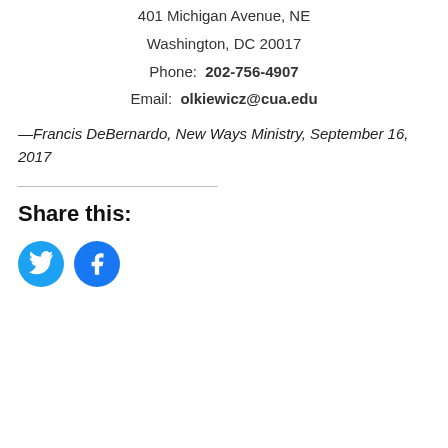401 Michigan Avenue, NE
Washington, DC 20017
Phone: 202-756-4907
Email: olkiewicz@cua.edu
—Francis DeBernardo, New Ways Ministry, September 16, 2017
Share this:
[Figure (other): Twitter and Facebook social share icon buttons (circular blue icons)]